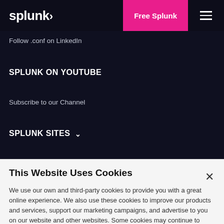splunk>
Free Splunk
Follow .conf on LinkedIn
SPLUNK ON YOUTUBE
Subscribe to our Channel
SPLUNK SITES
This Website Uses Cookies
We use our own and third-party cookies to provide you with a great online experience. We also use these cookies to improve our products and services, support our marketing campaigns, and advertise to you on our website and other websites. Some cookies may continue to collect information after you have left our website. Learn more here ›
Accept Cookies
Cookies Settings ›